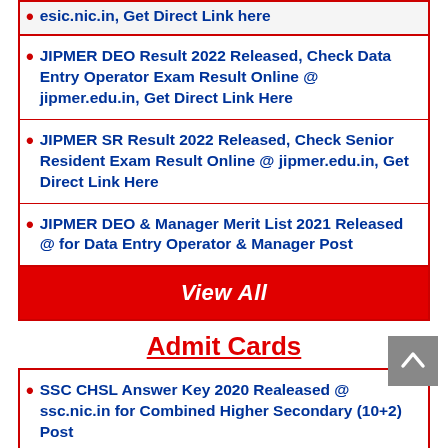esic.nic.in, Get Direct Link here
JIPMER DEO Result 2022 Released, Check Data Entry Operator Exam Result Online @ jipmer.edu.in, Get Direct Link Here
JIPMER SR Result 2022 Released, Check Senior Resident Exam Result Online @ jipmer.edu.in, Get Direct Link Here
JIPMER DEO & Manager Merit List 2021 Released @ for Data Entry Operator & Manager Post
View All
Admit Cards
SSC CHSL Answer Key 2020 Realeased @ ssc.nic.in for Combined Higher Secondary (10+2) Post
SSC CGLE Notice 2020 Realeased @